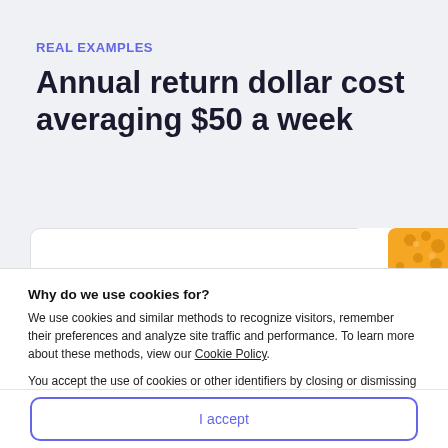REAL EXAMPLES
Annual return dollar cost averaging $50 a week
[Figure (other): Partial view of a white card with an orange decorative graphic in the top-right corner, partially visible at the bottom of the top section.]
Why do we use cookies for?
We use cookies and similar methods to recognize visitors, remember their preferences and analyze site traffic and performance. To learn more about these methods, view our Cookie Policy.
You accept the use of cookies or other identifiers by closing or dismissing this notice, by clicking a link or button or by continuing to browse otherwise.
I accept